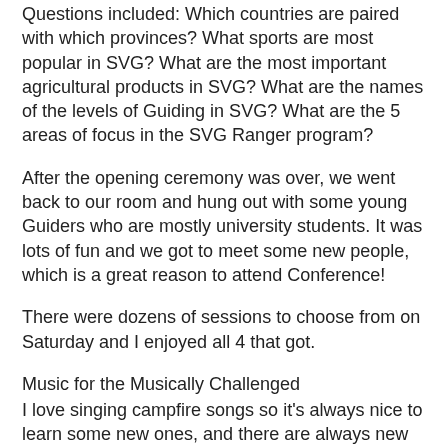Questions included: Which countries are paired with which provinces? What sports are most popular in SVG? What are the most important agricultural products in SVG? What are the names of the levels of Guiding in SVG? What are the 5 areas of focus in the SVG Ranger program?
After the opening ceremony was over, we went back to our room and hung out with some young Guiders who are mostly university students. It was lots of fun and we got to meet some new people, which is a great reason to attend Conference!
There were dozens of sessions to choose from on Saturday and I enjoyed all 4 that got.
Music for the Musically Challenged
I love singing campfire songs so it's always nice to learn some new ones, and there are always new ones to learn. Black Socks: I knew this one, but I learned new actions to go with it but they are on Becky's Guiding site if you scroll down.
Make New Friends: Again, I've done this in a round but not with actions. I can't find the actions but I'll try to describe it.